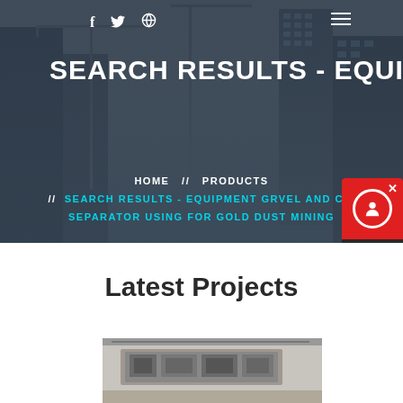[Figure (photo): Dark overlay on city construction background with cranes and buildings]
f  🐦  ⊕
SEARCH RESULTS - EQUIPMENT
HOME // PRODUCTS // SEARCH RESULTS - EQUIPMENT GRVEL AND CL SEPARATOR USING FOR GOLD DUST MINING
[Figure (infographic): Chat widget with red background and person icon, Chat Now label]
Latest Projects
[Figure (photo): Industrial equipment inside a building - mining or processing machinery]